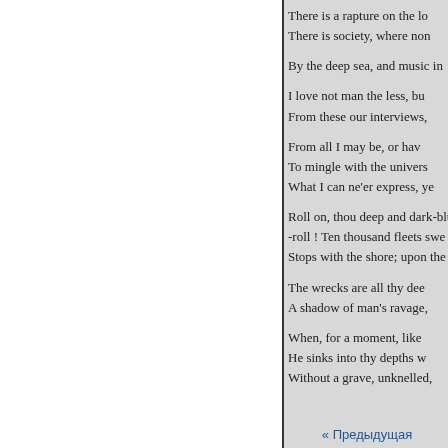There is a rapture on the lo
There is society, where non

By the deep sea, and music in

I love not man the less, bu
From these our interviews,

From all I may be, or hav
To mingle with the univers
What I can ne'er express, ye

Roll on, thou deep and dark-blue
-roll ! Ten thousand fleets swe
Stops with the shore; upon the

The wrecks are all thy dee
A shadow of man's ravage,

When, for a moment, like
He sinks into thy depths w
Without a grave, unknelled,
« Предыдущая